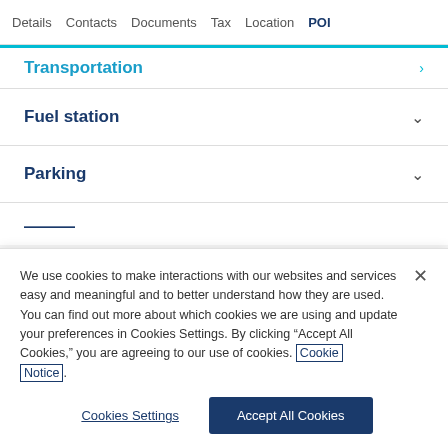Details  Contacts  Documents  Tax  Location  POI
Transportation
Fuel station
Parking
We use cookies to make interactions with our websites and services easy and meaningful and to better understand how they are used. You can find out more about which cookies we are using and update your preferences in Cookies Settings. By clicking “Accept All Cookies,” you are agreeing to our use of cookies. Cookie Notice.
Cookies Settings  Accept All Cookies